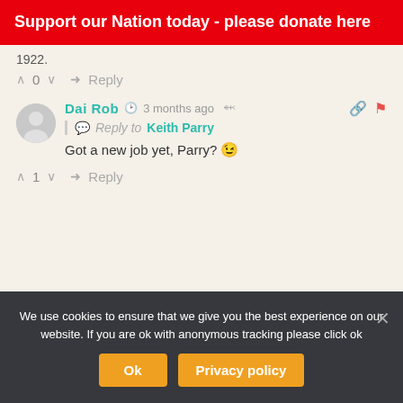Support our Nation today - please donate here
1922.
^ 0 v  Reply
Dai Rob  3 months ago  Reply to Keith Parry  Got a new job yet, Parry? 😉
^ 1 v  Reply
We use cookies to ensure that we give you the best experience on our website. If you are ok with anonymous tracking please click ok
Ok  Privacy policy